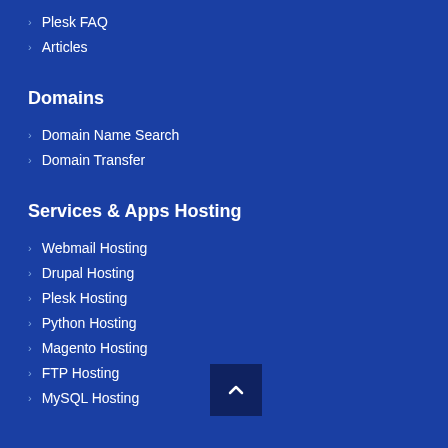Plesk FAQ
Articles
Domains
Domain Name Search
Domain Transfer
Services & Apps Hosting
Webmail Hosting
Drupal Hosting
Plesk Hosting
Python Hosting
Magento Hosting
FTP Hosting
MySQL Hosting